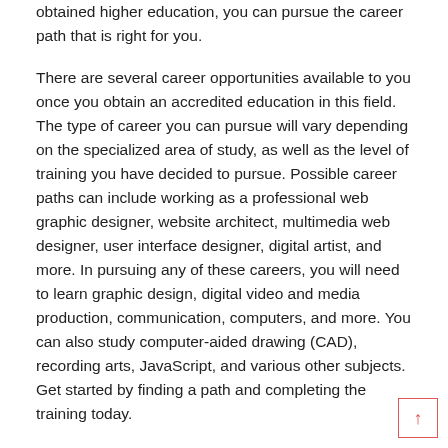obtained higher education, you can pursue the career path that is right for you.
There are several career opportunities available to you once you obtain an accredited education in this field. The type of career you can pursue will vary depending on the specialized area of study, as well as the level of training you have decided to pursue. Possible career paths can include working as a professional web graphic designer, website architect, multimedia web designer, user interface designer, digital artist, and more. In pursuing any of these careers, you will need to learn graphic design, digital video and media production, communication, computers, and more. You can also study computer-aided drawing (CAD), recording arts, JavaScript, and various other subjects. Get started by finding a path and completing the training today.